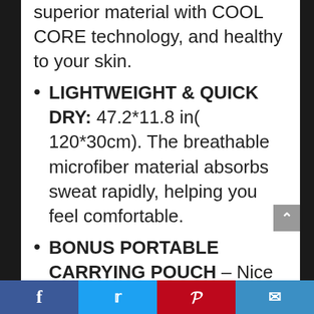superior material with COOL CORE technology, and healthy to your skin.
LIGHTWEIGHT & QUICK DRY: 47.2*11.8 in( 120*30cm). The breathable microfiber material absorbs sweat rapidly, helping you feel comfortable.
BONUS PORTABLE CARRYING POUCH – Nice portable and waterproof carrying pouch with carabiner clips is an unique design for you to carry the towel and makes it convenient to attach to your belt of sports bag, camping